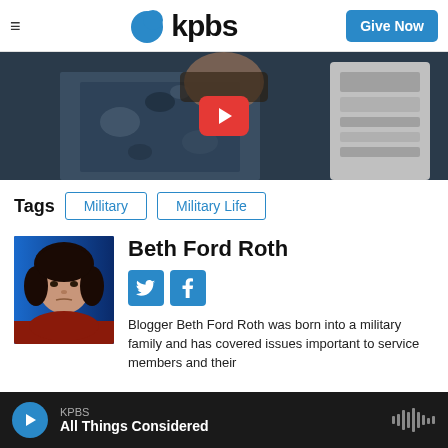kpbs | Give Now
[Figure (photo): Video thumbnail showing a person in military camouflage uniform with a play button overlay]
Tags  Military  Military Life
Beth Ford Roth
[Figure (photo): Headshot photo of Beth Ford Roth, a woman with dark hair wearing a red top, against a blue background]
Blogger Beth Ford Roth was born into a military family and has covered issues important to service members and their
KPBS  All Things Considered